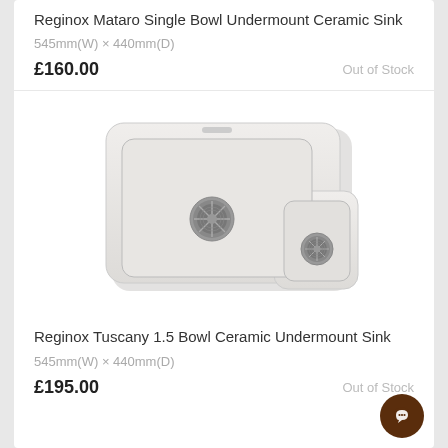Reginox Mataro Single Bowl Undermount Ceramic Sink
545mm(W) × 440mm(D)
£160.00
Out of Stock
[Figure (photo): Reginox Tuscany 1.5 Bowl Ceramic Undermount Sink - white ceramic sink with large main bowl and smaller secondary bowl, steel drains visible]
Reginox Tuscany 1.5 Bowl Ceramic Undermount Sink
545mm(W) × 440mm(D)
£195.00
Out of Stock